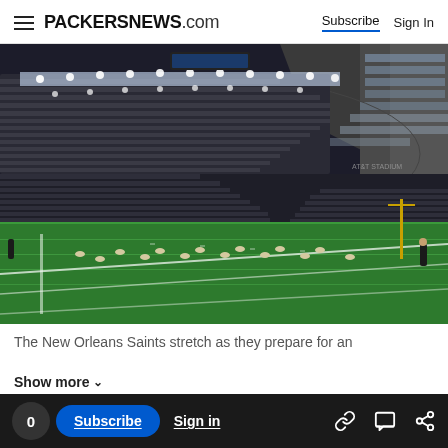PACKERSNEWS.com | Subscribe | Sign In
[Figure (photo): Interior of a large NFL stadium (AT&T Stadium) with the New Orleans Saints players stretching and warming up on the green field. The stadium is mostly empty with large seating sections and bright overhead lights visible. The roof structure is visible in the upper right corner.]
The New Orleans Saints stretch as they prepare for an
Show more